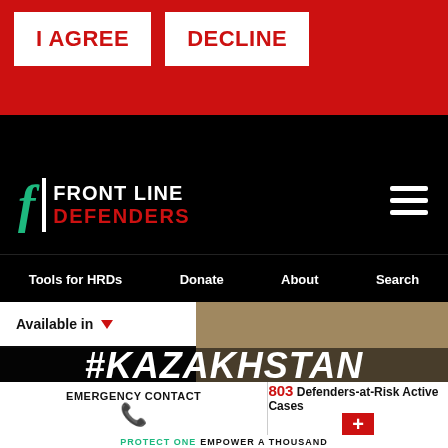[Figure (screenshot): Website screenshot of Front Line Defenders with cookie consent banner, navigation, and emergency contact bar]
I AGREE
DECLINE
FRONT LINE DEFENDERS
Tools for HRDs   Donate   About   Search
Available in
#KAZAKHSTAN
EMERGENCY CONTACT
803 Defenders-at-Risk Active Cases
PROTECT ONE EMPOWER A THOUSAND